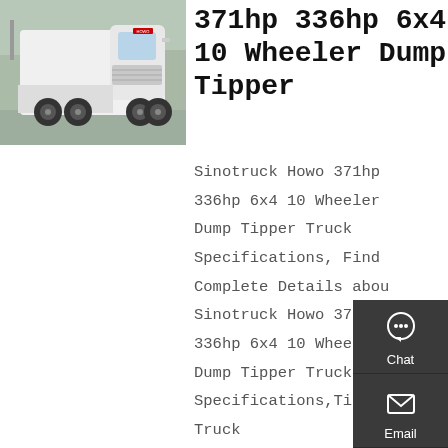[Figure (photo): White Sinotruck Howo heavy-duty truck (tractor/cab) parked in a lot, front-left angle view, with red trucks and buildings visible in the background.]
371hp 336hp 6x4 10 Wheeler Dump Tipper
Sinotruck Howo 371hp 336hp 6x4 10 Wheeler Dump Tipper Truck Specifications, Find Complete Details about Sinotruck Howo 371hp 336hp 6x4 10 Wheeler Dump Tipper Truck Specifications,Tipper Truck Specifications,Brand New Dump Trucks,Small Dump
[Figure (infographic): Dark sidebar panel with Chat (headset icon), Email (envelope icon), Contact (speech bubble icon), and Top (up arrow icon) buttons with red divider lines between them.]